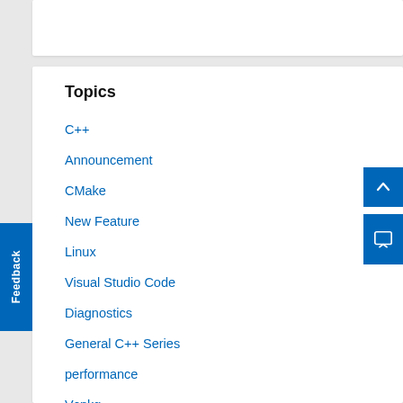Topics
C++
Announcement
CMake
New Feature
Linux
Visual Studio Code
Diagnostics
General C++ Series
performance
Vcpkg
Writing Code